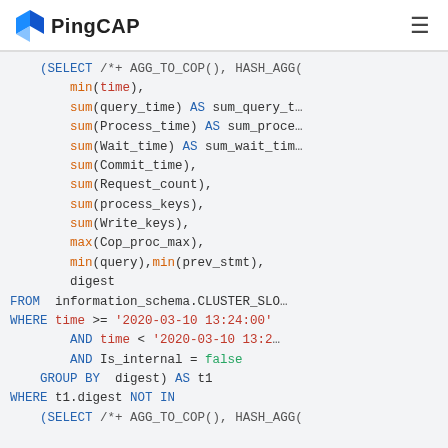PingCAP
(SELECT /*+ AGG_TO_COP(), HASH_AGG(
        min(time),
        sum(query_time) AS sum_query_t
        sum(Process_time) AS sum_proce
        sum(Wait_time) AS sum_wait_tim
        sum(Commit_time),
        sum(Request_count),
        sum(process_keys),
        sum(Write_keys),
        max(Cop_proc_max),
        min(query),min(prev_stmt),
        digest
FROM information_schema.CLUSTER_SLO
WHERE time >= '2020-03-10 13:24:00'
        AND time < '2020-03-10 13:2
        AND Is_internal = false
GROUP BY  digest) AS t1
WHERE t1.digest NOT IN
    (SELECT /*+ AGG_TO_COP(), HASH_AGG(